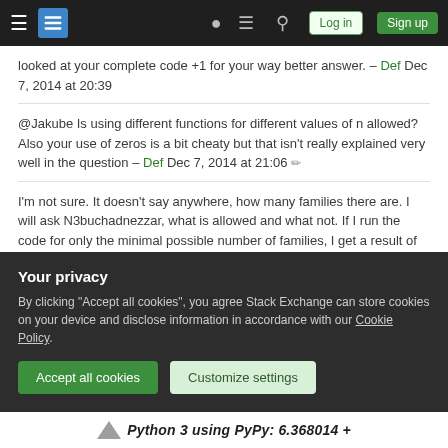Stack Exchange navigation bar with hamburger menu, logo, help, chat, search icons, Log in and Sign up buttons
looked at your complete code +1 for your way better answer. – Def Dec 7, 2014 at 20:39
@Jakube Is using different functions for different values of n allowed? Also your use of zeros is a bit cheaty but that isn't really explained very well in the question – Def Dec 7, 2014 at 21:06
I'm not sure. It doesn't say anywhere, how many families there are. I will ask N3buchadnezzar, what is allowed and what not. If I run the code for only the minimal possible number of families, I get a result of 6.4 + 8 + 0.5 = 14.9 – Jakube Dec 7, 2014 at 21:19
You were right, we have to use 500, 334 and 44
Your privacy
By clicking "Accept all cookies", you agree Stack Exchange can store cookies on your device and disclose information in accordance with our Cookie Policy.
Accept all cookies   Customize settings
Python 3 using PyPy: 6.368014 +